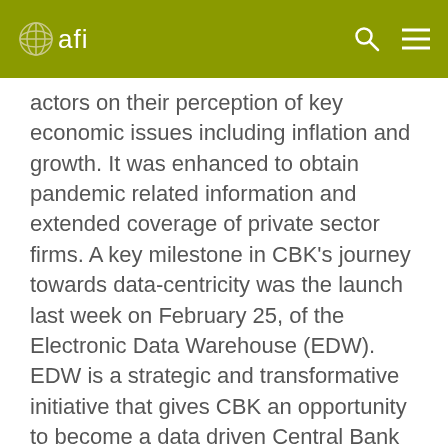afi
actors on their perception of key economic issues including inflation and growth. It was enhanced to obtain pandemic related information and extended coverage of private sector firms. A key milestone in CBK’s journey towards data-centricity was the launch last week on February 25, of the Electronic Data Warehouse (EDW). EDW is a strategic and transformative initiative that gives CBK an opportunity to become a data driven Central Bank through automation of data collection, storage and analysis. In particular, it will provide a centralized depository of data, shortening the time it takes to prepare and generate business reports while ensuring their accuracy. Turning back to the Finances Survey 2021, it has